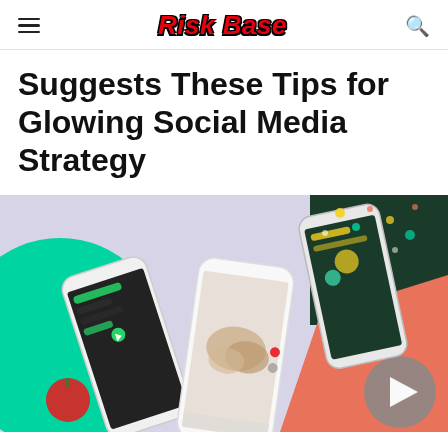Risk Base
Suggests These Tips for Glowing Social Media Strategy
[Figure (illustration): Hero image showing multiple smartphones with social media app screens, set against a colorful background with teal/mint circle shape, coral/pink triangle shape, and dark green section with colorful elements. Phones display various social media content including rings/jewelry, chat messages, and TikTok-style content.]